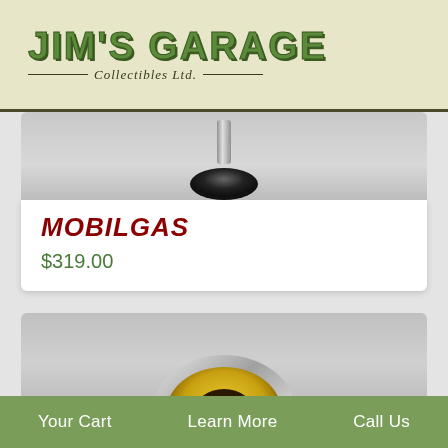[Figure (logo): Jim's Garage Collectibles Ltd. logo with green block lettering and italic subtitle on cream/beige background banner]
[Figure (photo): Close-up photo of bottom portion of a Mobilgas pegasus globe or gas pump globe, showing metallic neck and black base against grey background]
MOBILGAS
$319.00
[Figure (photo): Close-up photo of a round gauge or cap with chrome ring and yellow/gold center, against grey background]
Your Cart   Learn More   Call Us